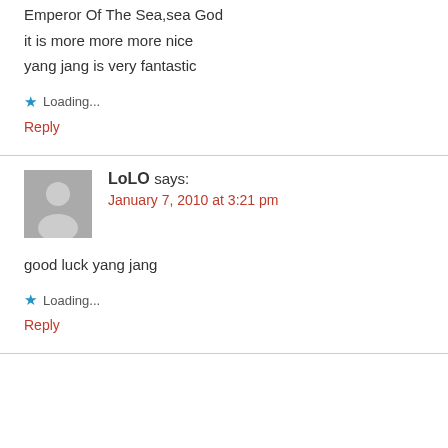Emperor Of The Sea,sea God
it is more more more nice
yang jang is very fantastic
★ Loading...
Reply
LoLO says:
January 7, 2010 at 3:21 pm
good luck yang jang
★ Loading...
Reply